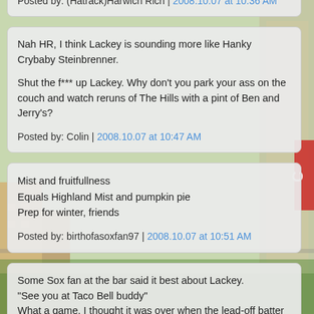Posted by: (Hatrack)Harwich Rich | 2008.10.07 at 10:36 AM
Nah HR, I think Lackey is sounding more like Hanky Crybaby Steinbrenner.

Shut the f*** up Lackey. Why don't you park your ass on the couch and watch reruns of The Hills with a pint of Ben and Jerry's?

Posted by: Colin | 2008.10.07 at 10:47 AM
Mist and fruitfullness
Equals Highland Mist and pumpkin pie
Prep for winter, friends

Posted by: birthofasoxfan97 | 2008.10.07 at 10:51 AM
Some Sox fan at the bar said it best about Lackey.
"See you at Taco Bell buddy"
What a game. I thought it was over when the lead-off batter hit a double in the 9th. I was wrong.